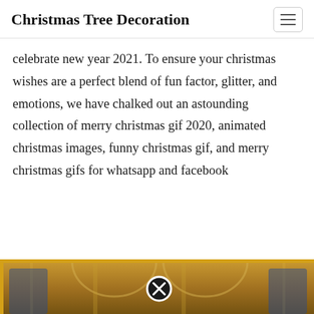Christmas Tree Decoration
celebrate new year 2021. To ensure your christmas wishes are a perfect blend of fun factor, glitter, and emotions, we have chalked out an astounding collection of merry christmas gif 2020, animated christmas images, funny christmas gif, and merry christmas gifs for whatsapp and facebook
[Figure (photo): A photograph showing ornate golden church/hall interior architecture with arched ceilings, partially visible at the bottom of the page. A close button (X in a black circle) overlays the image center.]